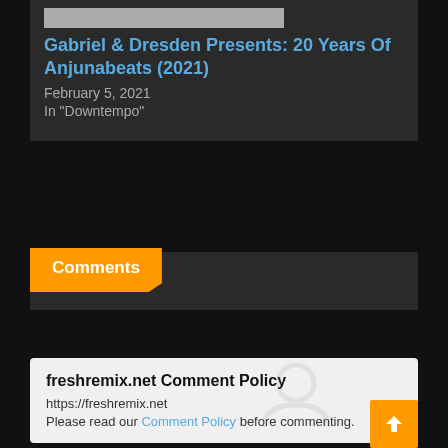[Figure (other): Gray image placeholder thumbnail]
Gabriel & Dresden Presents: 20 Years Of Anjunabeats (2021)
February 5, 2021
In "Downtempo"
Comments
freshremix.net Comment Policy
https://freshremix.net
Please read our Comment Policy before commenting.